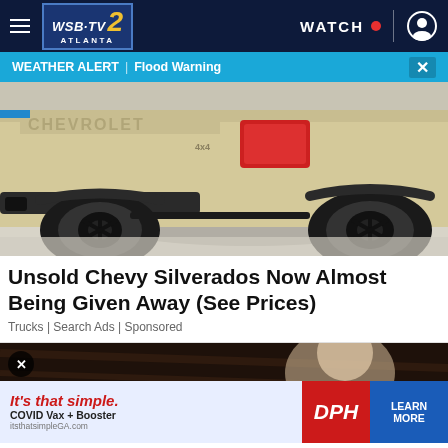WSB-TV 2 ATLANTA | WATCH | [profile icon]
WEATHER ALERT | Flood Warning
[Figure (photo): Rear view of a Chevrolet pickup truck (tan/beige color) with black wheels and large tires, shown in a dealership or showroom setting]
Unsold Chevy Silverados Now Almost Being Given Away (See Prices)
Trucks | Search Ads | Sponsored
[Figure (photo): Partial view of a vehicle interior (dark wood/leather) with a DPH advertisement banner overlay reading: It's that simple. COVID Vax + Booster | DPH | LEARN MORE | itsthatsimpleGA.com]